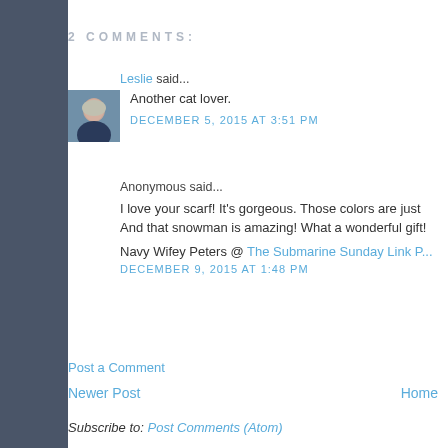2 COMMENTS:
Leslie said...
[Figure (photo): Avatar photo of Leslie, a woman with short light hair wearing a dark top]
Another cat lover.
DECEMBER 5, 2015 AT 3:51 PM
Anonymous said...
I love your scarf! It's gorgeous. Those colors are just
And that snowman is amazing! What a wonderful gift!
Navy Wifey Peters @ The Submarine Sunday Link P...
DECEMBER 9, 2015 AT 1:48 PM
Post a Comment
Newer Post
Home
Subscribe to: Post Comments (Atom)